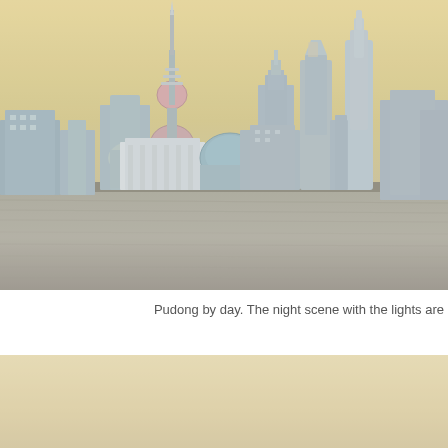[Figure (photo): Daytime panoramic view of the Pudong skyline in Shanghai, China, as seen from across the Huangpu River. The Oriental Pearl Tower is prominent in the center-left, with skyscrapers including the Shanghai World Financial Center and Shanghai Tower visible in the background. The hazy sky has a warm yellowish tint, and the river water occupies the lower half of the image.]
Pudong by day. The night scene with the lights are
[Figure (photo): Partial view of a second photograph showing a warm beige/cream-colored sky or hazy background, cut off at the bottom of the page. Very little detail is visible.]